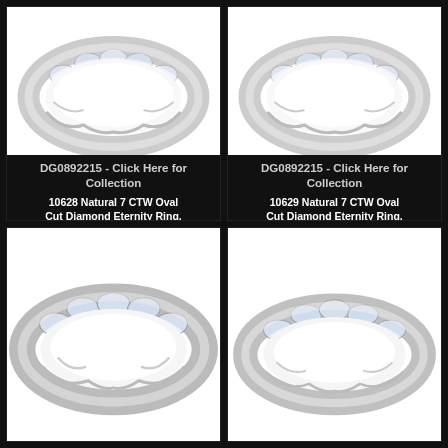[Figure (photo): Diamond eternity ring with oval cut diamonds in white gold setting, viewed from angle]
DG0892215 - Click Here for Collection
10628 Natural 7 CTW Oval Cut Diamond Eternity Ring, Size 4
$59,289.21
[Figure (photo): Diamond eternity ring with oval cut diamonds in white gold setting, viewed from angle]
DG0892215 - Click Here for Collection
10629 Natural 7 CTW Oval Cut Diamond Eternity Ring, Size 5
$59,381.21
[Figure (photo): Diamond eternity ring with oval cut diamonds in white gold setting, viewed closer angle]
[Figure (photo): Diamond eternity ring with oval cut diamonds in white gold setting, viewed from side]